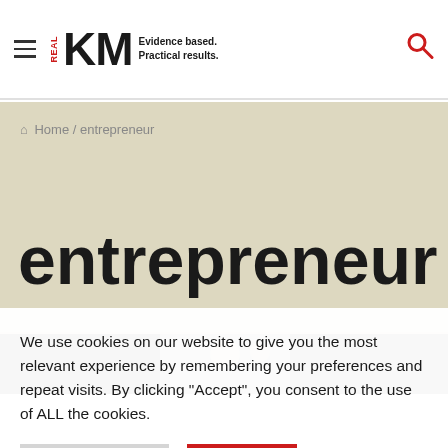RealKM — Evidence based. Practical results.
Home / entrepreneur
entrepreneur
[Figure (photo): Partial view of a dark image strip, appears to be a photo of a person or scene, partially visible]
We use cookies on our website to give you the most relevant experience by remembering your preferences and repeat visits. By clicking "Accept", you consent to the use of ALL the cookies.
Cookie Settings | Accept